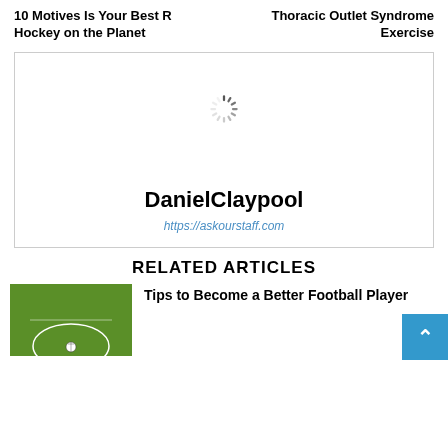10 Motives Is Your Best R Hockey on the Planet
Thoracic Outlet Syndrome Exercise
[Figure (other): Author profile box with loading spinner, author name DanielClaypool, and URL https://askourstaff.com]
RELATED ARTICLES
[Figure (photo): Football field viewed from above showing penalty arc and a football]
Tips to Become a Better Football Player